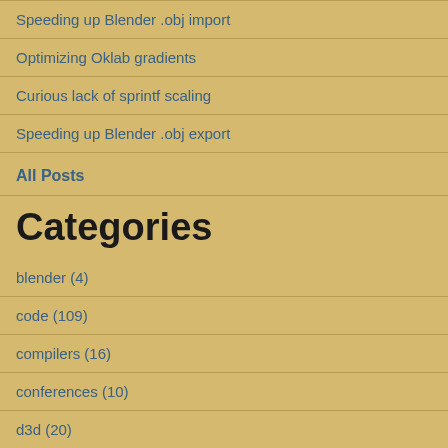Speeding up Blender .obj import
Optimizing Oklab gradients
Curious lack of sprintf scaling
Speeding up Blender .obj export
All Posts
Categories
blender (4)
code (109)
compilers (16)
conferences (10)
d3d (20)
demos (39)
devtools (22)
energy (1)